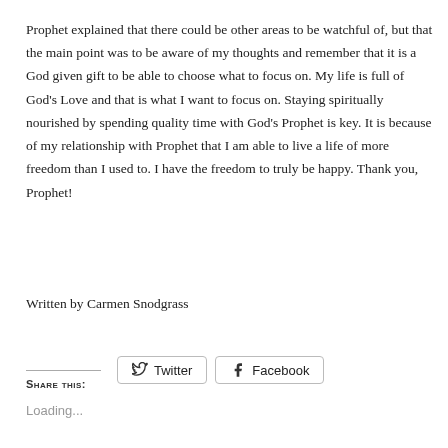Prophet explained that there could be other areas to be watchful of, but that the main point was to be aware of my thoughts and remember that it is a God given gift to be able to choose what to focus on. My life is full of God's Love and that is what I want to focus on. Staying spiritually nourished by spending quality time with God's Prophet is key. It is because of my relationship with Prophet that I am able to live a life of more freedom than I used to. I have the freedom to truly be happy. Thank you, Prophet!
Written by Carmen Snodgrass
Share this:
Loading...